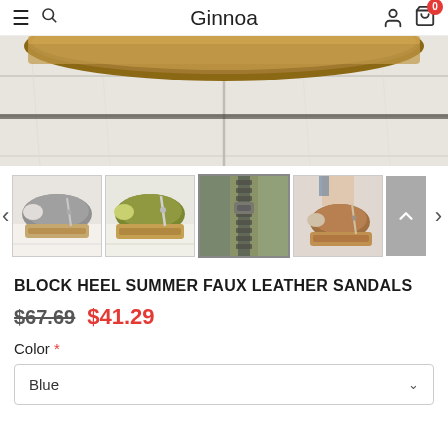Ginnoa
[Figure (photo): Close-up of a wedge sandal sole on a white wooden surface, showing brown leather/wood platform bottom]
[Figure (photo): Thumbnail strip showing 4 product images: grey wedge sandal, olive/green wedge sandal, close-up of zipper on olive sandal, brown/tan wedge sandal worn on foot]
BLOCK HEEL SUMMER FAUX LEATHER SANDALS
$67.69  $41.29
Color *
Blue